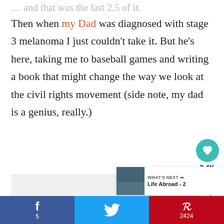… and that was the last 2.5 of it. Then when my Dad was diagnosed with stage 3 melanoma I just couldn't take it. But he's here, taking me to baseball games and writing a book that might change the way we look at the civil rights movement (side note, my dad is a genius, really.)
[Figure (screenshot): Social media UI elements: heart/like button showing 2.4K, share button, What's Next panel with thumbnail, and bottom social share bar with Facebook (f, 5), Twitter (bird), Pinterest (P, 2424)]